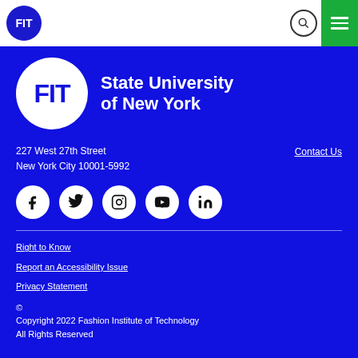FIT
[Figure (logo): FIT logo circle with text 'FIT State University of New York' on blue background]
227 West 27th Street
New York City 10001-5992
Contact Us
[Figure (other): Social media icons: Facebook, Twitter, Instagram, YouTube, LinkedIn]
Right to Know
Report an Accessibility Issue
Privacy Statement
© Copyright 2022 Fashion Institute of Technology
All Rights Reserved